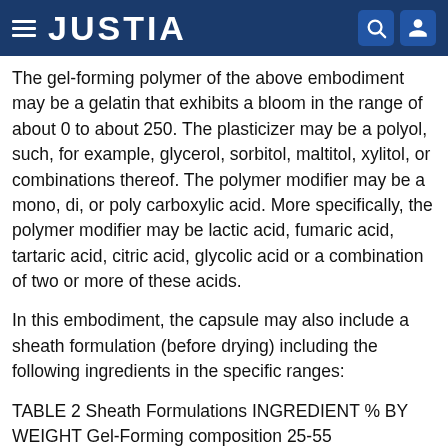JUSTIA
The gel-forming polymer of the above embodiment may be a gelatin that exhibits a bloom in the range of about 0 to about 250. The plasticizer may be a polyol, such, for example, glycerol, sorbitol, maltitol, xylitol, or combinations thereof. The polymer modifier may be a mono, di, or poly carboxylic acid. More specifically, the polymer modifier may be lactic acid, fumaric acid, tartaric acid, citric acid, glycolic acid or a combination of two or more of these acids.
In this embodiment, the capsule may also include a sheath formulation (before drying) including the following ingredients in the specific ranges:
TABLE 2 Sheath Formulations INGREDIENT % BY WEIGHT Gel-Forming composition 25-55 Plasticizer   5-40 Water 15-40 Other Ingredients, e.g., color, flavor, or 0.1-10